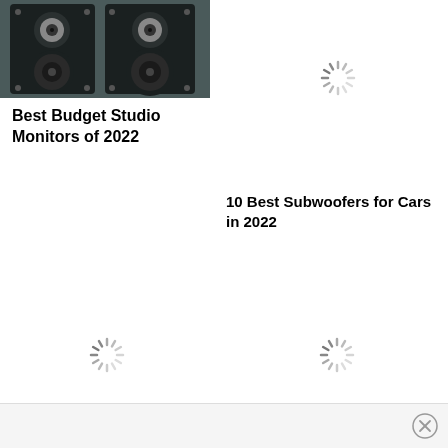[Figure (photo): Photo of two studio monitor speakers, dark colored, front-facing view showing tweeters and woofers]
Best Budget Studio Monitors of 2022
[Figure (other): Loading spinner icon (top right)]
10 Best Subwoofers for Cars in 2022
[Figure (other): Loading spinner icon (bottom left)]
[Figure (other): Loading spinner icon (bottom right)]
[Figure (other): Close button (X) in bottom right corner]